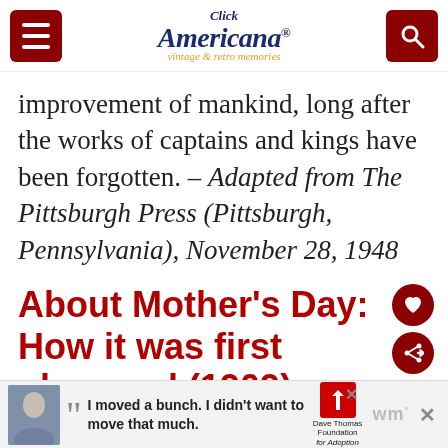Click Americana - vintage & retro memories
improvement of mankind, long after the works of captains and kings have been forgotten. – Adapted from The Pittsburgh Press (Pittsburgh, Pennsylvania), November 28, 1948
About Mother's Day: How it was first observed (1909)
A white carnation, a symbol of purity,
WHAT'S NEXT → Mother's Day presidential...